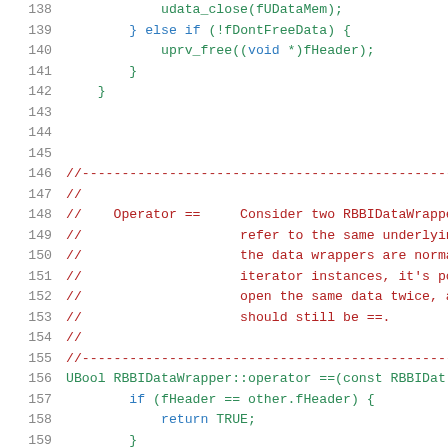[Figure (screenshot): Source code listing in C++ with line numbers 138-158, showing monospace code with syntax highlighting: green for code, blue for keywords, dark red for comments.]